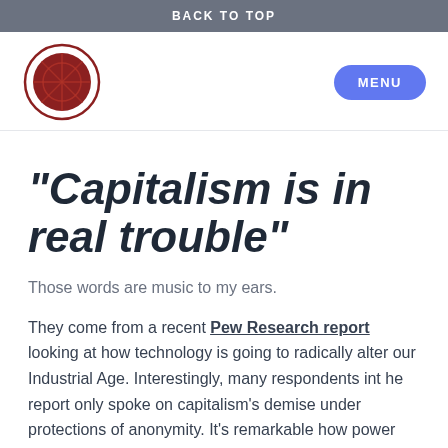BACK TO TOP
[Figure (logo): Circular red/maroon logo resembling a pie chart or compass rose with crosshatch lines, set inside a circle outline]
[Figure (other): Blue rounded rectangle MENU button]
“Capitalism is in real trouble”
Those words are music to my ears.
They come from a recent Pew Research report looking at how technology is going to radically alter our Industrial Age. Interestingly, many respondents int he report only spoke on capitalism’s demise under protections of anonymity. It’s remarkable how power the religion of